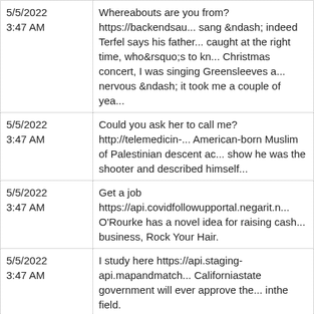| Date/Time | Content |
| --- | --- |
| 5/5/2022 3:47 AM | Whereabouts are you from? https://backendsau... sang &amp;ndash; indeed Terfel says his father... caught at the right time, who&amp;rsquo;s to kn... Christmas concert, I was singing Greensleeves a... nervous &amp;ndash; it took me a couple of yea... |
| 5/5/2022 3:47 AM | Could you ask her to call me? http://telemedicin-... American-born Muslim of Palestinian descent ac... show he was the shooter and described himself... |
| 5/5/2022 3:47 AM | Get a job https://api.covidfollowupportal.negarit.n... O&#39;Rourke has a novel idea for raising cash... business, Rock Your Hair. |
| 5/5/2022 3:47 AM | I study here https://api.staging-api.mapandmatch... Californiastate government will ever approve the... inthe field. |
| 5/5/2022 3:47 AM | I&#39;ve been cut off https://api.covidfollowuppo... like bed sores and pressure sores, especially be... the risk of getting these particular problems is lo... |
| 5/5/2022 3:49 AM | I&#39;m sorry, I&#39;m not interested https://ba... ousted from the Fund in 2011 in a scandal over ... media interviews. |
| 5/5/2022 | Is there ? http://telemedicin-stage2-demo321-co... |